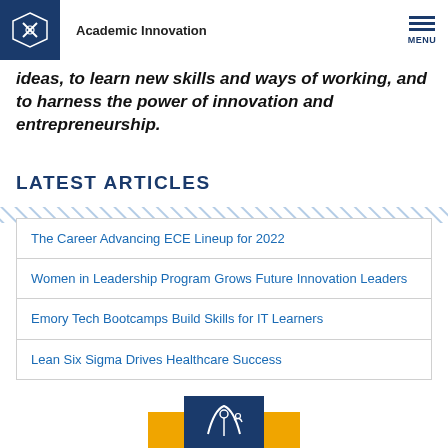Academic Innovation
ideas, to learn new skills and ways of working, and to harness the power of innovation and entrepreneurship.
LATEST ARTICLES
The Career Advancing ECE Lineup for 2022
Women in Leadership Program Grows Future Innovation Leaders
Emory Tech Bootcamps Build Skills for IT Learners
Lean Six Sigma Drives Healthcare Success